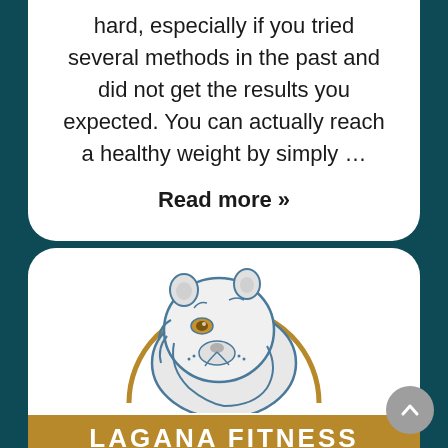hard, especially if you tried several methods in the past and did not get the results you expected. You can actually reach a healthy weight by simply ...
Read more »
[Figure (logo): Lagana Fitness logo featuring a lion/lioness head illustration in blue and white with a gold semicircular arc, and 'LAGANA FITNESS' text on a gold banner below]